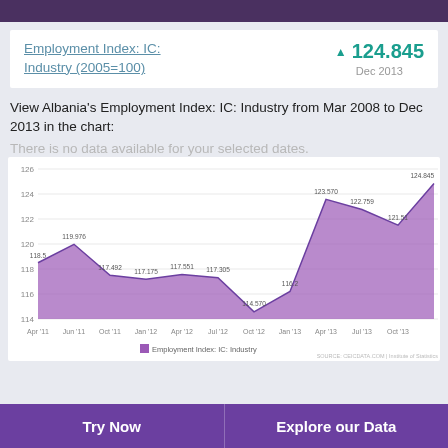Employment Index: IC: Industry (2005=100)
▲ 124.845 Dec 2013
View Albania's Employment Index: IC: Industry from Mar 2008 to Dec 2013 in the chart:
There is no data available for your selected dates.
[Figure (area-chart): Employment Index: IC: Industry]
Try Now    Explore our Data